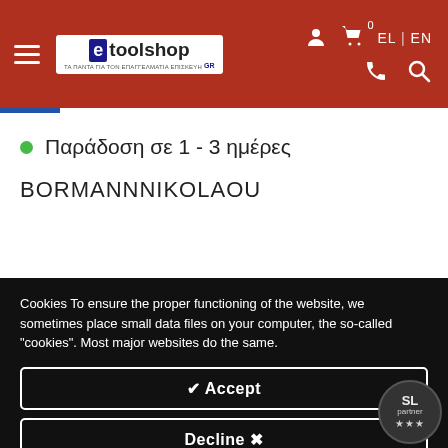[Figure (logo): e-toolshop website header with red background, hamburger menu, logo, user/cart icons, language switcher EL|EN, phone and search icons]
Παράδοση σε 1 - 3 ημέρες
BORMANNNIKOLAOU
Cookies To ensure the proper functioning of the website, we sometimes place small data files on your computer, the so-called "cookies". Most major websites do the same.
✔ Accept
Decline ✗